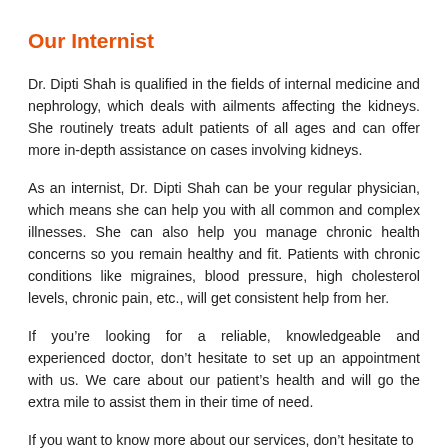Our Internist
Dr. Dipti Shah is qualified in the fields of internal medicine and nephrology, which deals with ailments affecting the kidneys. She routinely treats adult patients of all ages and can offer more in-depth assistance on cases involving kidneys.
As an internist, Dr. Dipti Shah can be your regular physician, which means she can help you with all common and complex illnesses. She can also help you manage chronic health concerns so you remain healthy and fit. Patients with chronic conditions like migraines, blood pressure, high cholesterol levels, chronic pain, etc., will get consistent help from her.
If you’re looking for a reliable, knowledgeable and experienced doctor, don’t hesitate to set up an appointment with us. We care about our patient’s health and will go the extra mile to assist them in their time of need.
If you want to know more about our services, don’t hesitate to